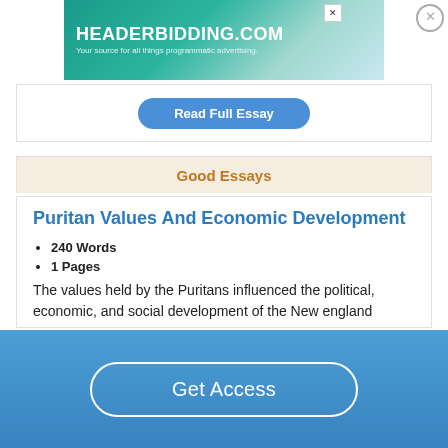[Figure (screenshot): HEADERBIDDING.COM advertisement banner - teal gradient background with white text]
Good Essays
Puritan Values And Economic Development
240 Words
1 Pages
The values held by the Puritans influenced the political, economic, and social development of the New england colonies in many ways. The Puritans were very strict when it came to religion. Massachusetts was sought out to create a
Get Access